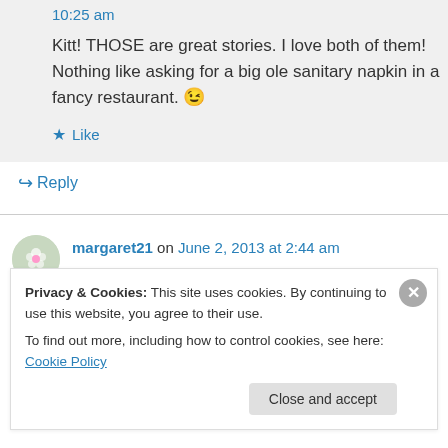10:25 am
Kitt! THOSE are great stories. I love both of them! Nothing like asking for a big ole sanitary napkin in a fancy restaurant. 😉
★ Like
↪ Reply
margaret21 on June 2, 2013 at 2:44 am
Aaaagh! We could really do with a dictionary for
Privacy & Cookies: This site uses cookies. By continuing to use this website, you agree to their use.
To find out more, including how to control cookies, see here: Cookie Policy
Close and accept